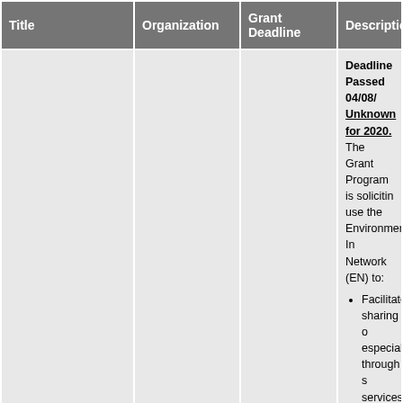| Title | Organization | Grant Deadline | Description |
| --- | --- | --- | --- |
| FY 2019 National Environmental Information Exchange Network Grant Solicitation Notice | EPA |  | Deadline Passed 04/08/... Unknown for 2020. The Grant Program is soliciting... use the Environmental In... Network (EN) to: • Facilitate sharing o... especially through s... services. • Streamline data co... to improve its timeli... making. • Increase the quality... environmental data... publishing, outbou... services so it is mo... environmental man... • Develop foundation... to reduce burden a... regulators and the ... • Expand and improv... by strengthening th... |